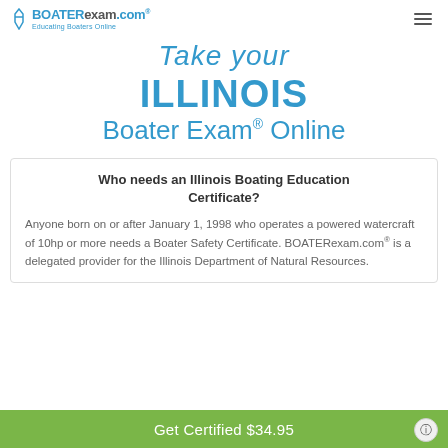BOATERexam.com® Educating Boaters Online
Take your ILLINOIS Boater Exam® Online
Who needs an Illinois Boating Education Certificate?
Anyone born on or after January 1, 1998 who operates a powered watercraft of 10hp or more needs a Boater Safety Certificate. BOATERexam.com® is a delegated provider for the Illinois Department of Natural Resources.
Get Certified $34.95